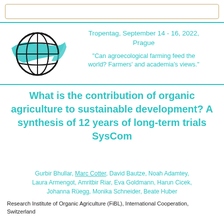[Figure (logo): Tropentag globe logo with teal swoosh band across a wireframe globe in black ink style]
Tropentag, September 14 - 16, 2022, Prague
"Can agroecological farming feed the world? Farmers' and academia's views."
What is the contribution of organic agriculture to sustainable development? A synthesis of 12 years of long-term trials SysCom
Gurbir Bhullar, Marc Cotter, David Bautze, Noah Adamtey, Laura Armengot, Amritbir Riar, Eva Goldmann, Harun Cicek, Johanna Rüegg, Monika Schneider, Beate Huber
Research Institute of Organic Agriculture (FiBL), International Cooperation, Switzerland